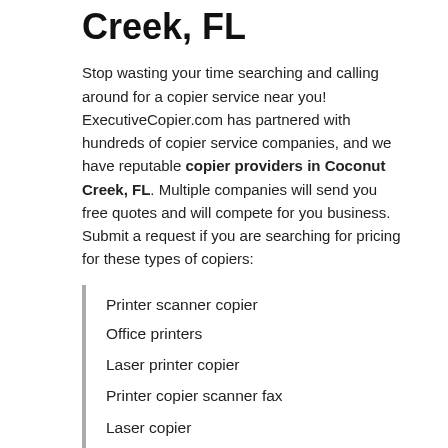Creek, FL
Stop wasting your time searching and calling around for a copier service near you! ExecutiveCopier.com has partnered with hundreds of copier service companies, and we have reputable copier providers in Coconut Creek, FL. Multiple companies will send you free quotes and will compete for you business. Submit a request if you are searching for pricing for these types of copiers:
Printer scanner copier
Office printers
Laser printer copier
Printer copier scanner fax
Laser copier
Office equipment
Printer Leases in Coconut